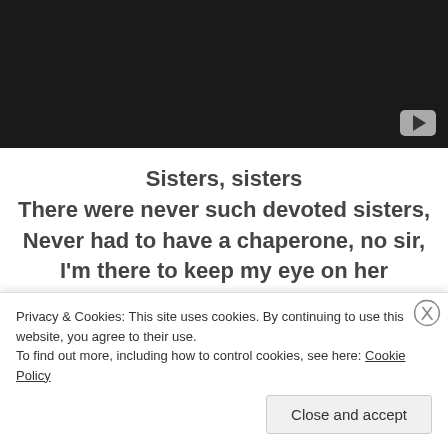[Figure (screenshot): Dark video player area with YouTube play button icon in bottom-right corner]
Sisters, sisters
There were never such devoted sisters,
Never had to have a chaperone, no sir,
I'm there to keep my eye on her
Caring, sharing
Every little thing that we are wearing
Privacy & Cookies: This site uses cookies. By continuing to use this website, you agree to their use.
To find out more, including how to control cookies, see here: Cookie Policy
Close and accept